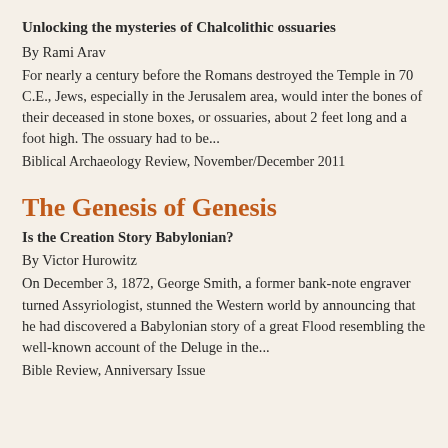Unlocking the mysteries of Chalcolithic ossuaries
By Rami Arav
For nearly a century before the Romans destroyed the Temple in 70 C.E., Jews, especially in the Jerusalem area, would inter the bones of their deceased in stone boxes, or ossuaries, about 2 feet long and a foot high. The ossuary had to be...
Biblical Archaeology Review, November/December 2011
The Genesis of Genesis
Is the Creation Story Babylonian?
By Victor Hurowitz
On December 3, 1872, George Smith, a former bank-note engraver turned Assyriologist, stunned the Western world by announcing that he had discovered a Babylonian story of a great Flood resembling the well-known account of the Deluge in the...
Bible Review, Anniversary Issue